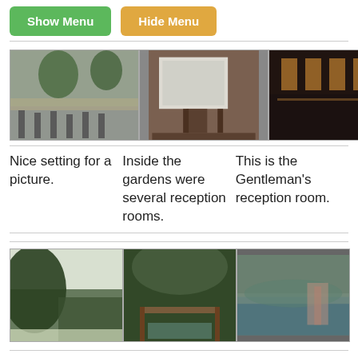[Figure (screenshot): Show Menu and Hide Menu buttons at top of page]
[Figure (photo): Outdoor scene with people and trees]
[Figure (photo): Indoor room with projection screen]
[Figure (photo): Dark indoor hall]
Nice setting for a picture.
Inside the gardens were several reception rooms.
This is the Gentleman's reception room.
[Figure (photo): Bright outdoor scene with foliage]
[Figure (photo): Garden with trees and bridge]
[Figure (photo): Water feature with people]
Koi in the
The lovely
Another